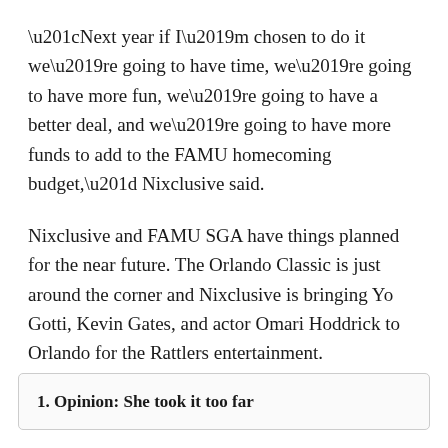“Next year if I’m chosen to do it we’re going to have time, we’re going to have more fun, we’re going to have a better deal, and we’re going to have more funds to add to the FAMU homecoming budget,” Nixclusive said.
Nixclusive and FAMU SGA have things planned for the near future. The Orlando Classic is just around the corner and Nixclusive is bringing Yo Gotti, Kevin Gates, and actor Omari Hoddrick to Orlando for the Rattlers entertainment. FAMU’s SGA has new ideas, possibly a concert, for the Spring homecoming.
1. Opinion: She took it too far